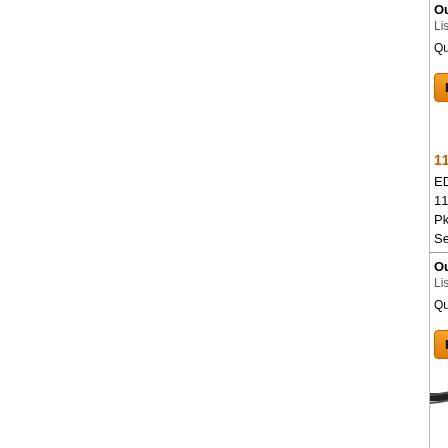Our price
List price
Quantity
[Figure (other): Orange Buy Now button]
11/64 DR...
EDP: 240...
11/64 DR...
Pkg Qty ...
Selling Q...
Our price
List price
Quantity
[Figure (other): Orange Buy Now button]
[Figure (photo): BESLY brand drill bit, black, straight shank, model No. 1-155, 11/64 PK-14]
See details
Result pages: 1 2 3 4 5 6 7 8 9 10